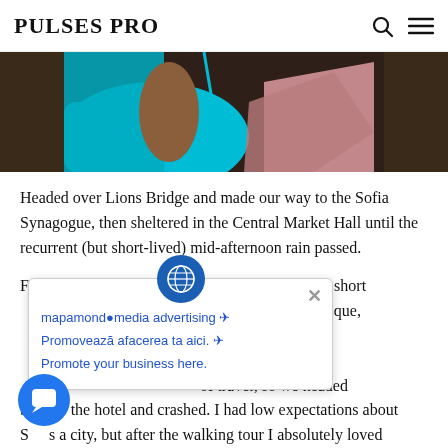PULSES PRO
[Figure (photo): Partial view of a person wearing a cyan/turquoise top and a pink/mauve item, cropped at bottom of frame, dark background]
Headed over Lions Bridge and made our way to the Sofia Synagogue, then sheltered in the Central Market Hall until the recurrent (but short-lived) mid-afternoon rain passed.
Feeling refreshed after an espresso, we walked a short distance passing Banya Bashi Mosque, and the Serdica complex.
[Figure (screenshot): Popup advertisement overlay showing globe icon, close X button, and text: mapamondmedia advertising - Promovează afacerea ta aici. - Promote your business here.]
back to the hotel and crashed. I had low expectations about Sofia as a city, but after the walking tour I absolutely loved it. This was an easy city to navigate, and it was a beautiful city despite its ugly, staunch and stolid